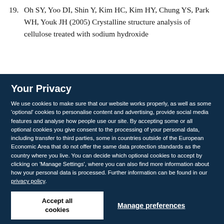19. Oh SY, Yoo DI, Shin Y, Kim HC, Kim HY, Chung YS, Park WH, Youk JH (2005) Crystalline structure analysis of cellulose treated with sodium hydroxide
Your Privacy
We use cookies to make sure that our website works properly, as well as some 'optional' cookies to personalise content and advertising, provide social media features and analyse how people use our site. By accepting some or all optional cookies you give consent to the processing of your personal data, including transfer to third parties, some in countries outside of the European Economic Area that do not offer the same data protection standards as the country where you live. You can decide which optional cookies to accept by clicking on 'Manage Settings', where you can also find more information about how your personal data is processed. Further information can be found in our privacy policy.
Accept all cookies
Manage preferences